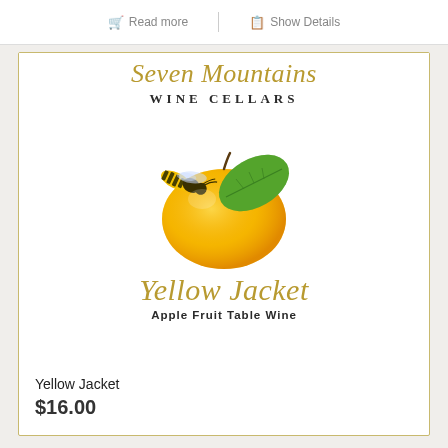Read more | Show Details
[Figure (illustration): Seven Mountains Wine Cellars Yellow Jacket Apple Fruit Table Wine label featuring a yellow-green apple with a large green leaf and a yellow jacket wasp perched on it, with script and serif typography in gold and dark colors]
Yellow Jacket
$16.00